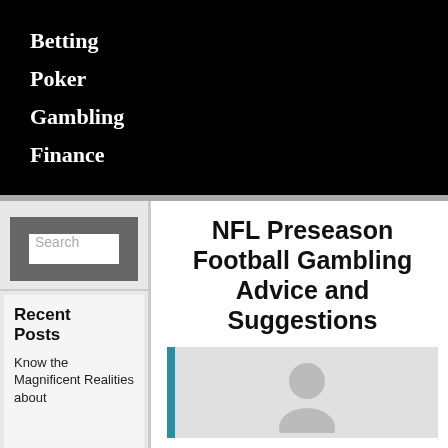Betting
Poker
Gambling
Finance
Search
Recent Posts
Know the Magnificent Realities about
NFL Preseason Football Gambling Advice and Suggestions
[Figure (illustration): Avatar/person placeholder image with teal left border bar]